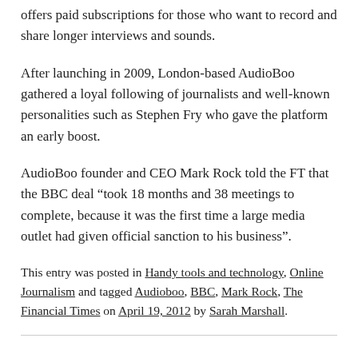offers paid subscriptions for those who want to record and share longer interviews and sounds.
After launching in 2009, London-based AudioBoo gathered a loyal following of journalists and well-known personalities such as Stephen Fry who gave the platform an early boost.
AudioBoo founder and CEO Mark Rock told the FT that the BBC deal “took 18 months and 38 meetings to complete, because it was the first time a large media outlet had given official sanction to his business”.
This entry was posted in Handy tools and technology, Online Journalism and tagged Audioboo, BBC, Mark Rock, The Financial Times on April 19, 2012 by Sarah Marshall.